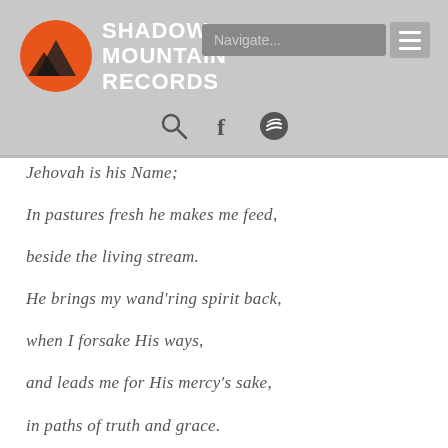[Figure (logo): Shadow Mountain Records logo with orange circle and mountain silhouette, white bold text reading SHADOW MOUNTAIN RECORDS]
Jehovah is his Name;
In pastures fresh he makes me feed,
beside the living stream.
He brings my wand'ring spirit back,
when I forsake His ways,
and leads me for His mercy's sake,
in paths of truth and grace.